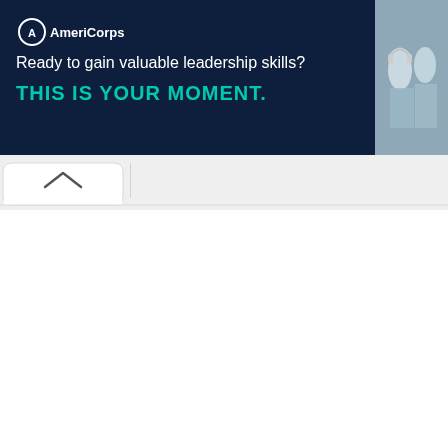[Figure (infographic): AmeriCorps advertisement banner with dark navy background. Shows AmeriCorps logo, text 'Ready to gain valuable leadership skills?' and 'THIS IS YOUR MOMENT.' in teal, with a 'LEARN MORE' teal button. Right side shows a photo of young people in AmeriCorps uniforms.]
[Figure (screenshot): Browser UI element showing a tab with an up-chevron arrow icon and a tab divider, on a light grey background.]